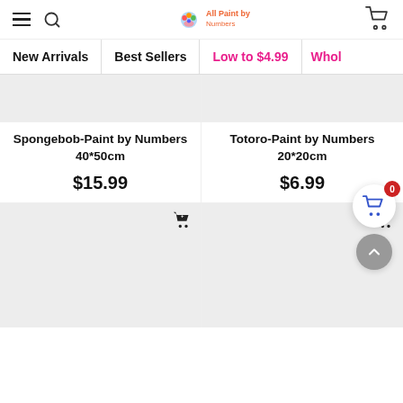Navigation header with hamburger menu, search icon, All Paint by Numbers logo, and cart icon
New Arrivals | Best Sellers | Low to $4.99 | Whol...
Spongebob-Paint by Numbers 40*50cm
$15.99
Totoro-Paint by Numbers 20*20cm
$6.99
[Figure (screenshot): Two partially visible product image placeholders at the bottom of the page (grey boxes with add-to-cart icons)]